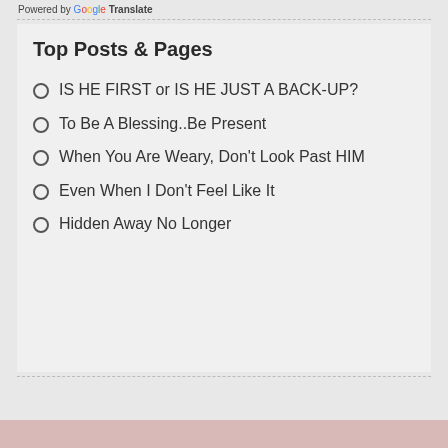Powered by Google Translate
Top Posts & Pages
IS HE FIRST or IS HE JUST A BACK-UP?
To Be A Blessing..Be Present
When You Are Weary, Don't Look Past HIM
Even When I Don't Feel Like It
Hidden Away No Longer